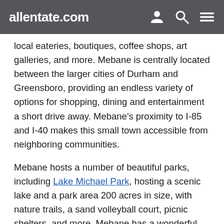allentate.com
local eateries, boutiques, coffee shops, art galleries, and more. Mebane is centrally located between the larger cities of Durham and Greensboro, providing an endless variety of options for shopping, dining and entertainment a short drive away. Mebane's proximity to I-85 and I-40 makes this small town accessible from neighboring communities.
Mebane hosts a number of beautiful parks, including Lake Michael Park, hosting a scenic lake and a park area 200 acres in size, with nature trails, a sand volleyball court, picnic shelters, and more. Mebane has a wonderful selection of entertainment and artistic venues, including the Mebane Historical Museum, Mebane Train Museum, Fine and Folk Art Carolina Gallery, and Mebane Arts and Community Center. Annual community events in Mebane include the Dogwood Festival in April and the Autumn Fest in October. Golf enthusiasts may access the semi-